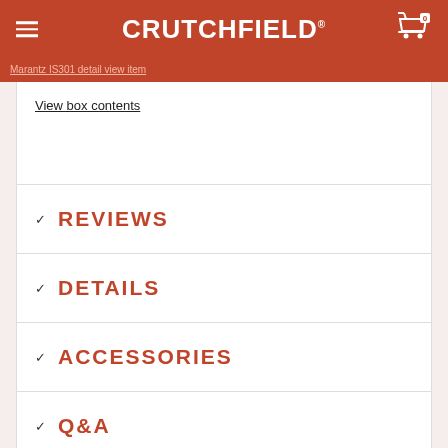CRUTCHFIELD
Marantz IS301 detail view item
View box contents
REVIEWS
DETAILS
ACCESSORIES
Q&A
12 reasons to shop with us